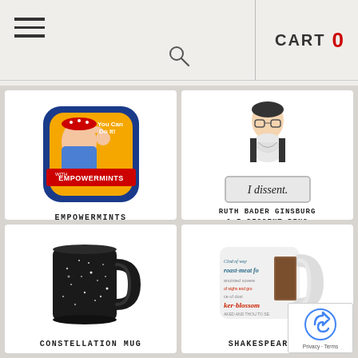CART 0
[Figure (photo): Empowermints tin with Rosie the Riveter 'You Can Do It' design]
EMPOWERMINTS
$3.95
[Figure (photo): Ruth Bader Ginsburg enamel pin and 'I dissent.' pin set]
RUTH BADER GINSBURG & I DISSENT PINS
$15.95
[Figure (photo): Black constellation mug with white speckles]
CONSTELLATION MUG
[Figure (photo): White mug with Shakespearean insults printed on it]
SHAKESPEAREAN